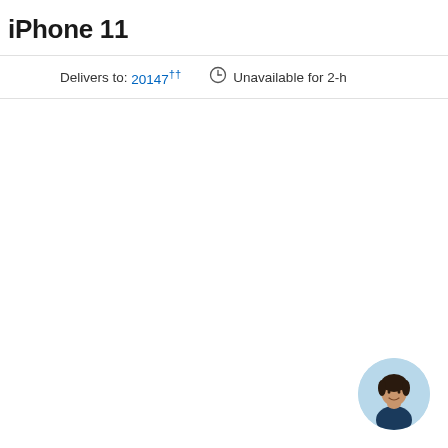iPhone 11
Delivers to: 20147†† Unavailable for 2-h
[Figure (photo): Circular avatar photo of a person with dark hair wearing a dark top, on a light blue background, positioned at the bottom right corner]